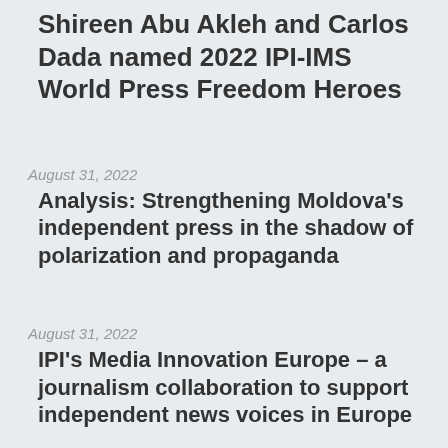Shireen Abu Akleh and Carlos Dada named 2022 IPI-IMS World Press Freedom Heroes
August 31, 2022
Analysis: Strengthening Moldova's independent press in the shadow of polarization and propaganda
August 31, 2022
IPI's Media Innovation Europe – a journalism collaboration to support independent news voices in Europe